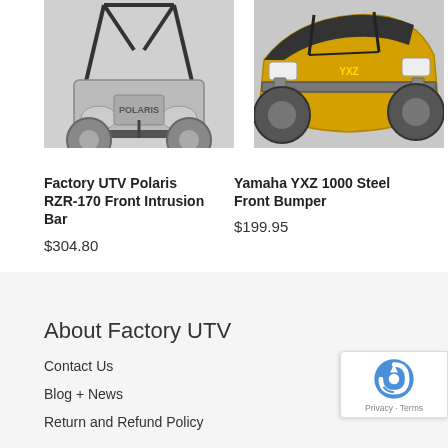[Figure (photo): Factory UTV Polaris RZR-170 front view with roll cage and front intrusion bar]
[Figure (photo): Yamaha YXZ 1000 yellow UTV with steel front bumper, front 3/4 view]
Factory UTV Polaris RZR-170 Front Intrusion Bar
$304.80
Yamaha YXZ 1000 Steel Front Bumper
$199.95
About Factory UTV
Contact Us
Blog + News
Return and Refund Policy